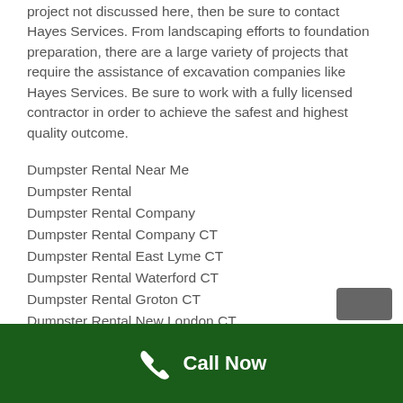project not discussed here, then be sure to contact Hayes Services. From landscaping efforts to foundation preparation, there are a large variety of projects that require the assistance of excavation companies like Hayes Services. Be sure to work with a fully licensed contractor in order to achieve the safest and highest quality outcome.
Dumpster Rental Near Me
Dumpster Rental
Dumpster Rental Company
Dumpster Rental Company CT
Dumpster Rental East Lyme CT
Dumpster Rental Waterford CT
Dumpster Rental Groton CT
Dumpster Rental New London CT
Dumpster Rental Old Saybrook CT
Dumpster Rental Madison CT
Call Now